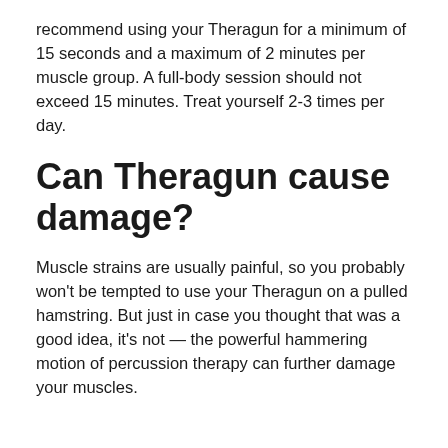recommend using your Theragun for a minimum of 15 seconds and a maximum of 2 minutes per muscle group. A full-body session should not exceed 15 minutes. Treat yourself 2-3 times per day.
Can Theragun cause damage?
Muscle strains are usually painful, so you probably won't be tempted to use your Theragun on a pulled hamstring. But just in case you thought that was a good idea, it's not — the powerful hammering motion of percussion therapy can further damage your muscles.